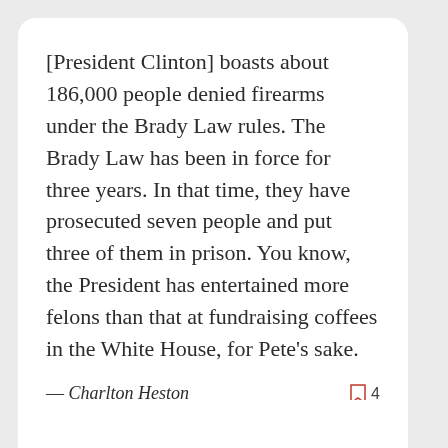[President Clinton] boasts about 186,000 people denied firearms under the Brady Law rules. The Brady Law has been in force for three years. In that time, they have prosecuted seven people and put three of them in prison. You know, the President has entertained more felons than that at fundraising coffees in the White House, for Pete's sake.
— Charlton Heston
[Figure (infographic): Social share buttons: Facebook (blue circle), WhatsApp (green circle), Reddit (orange circle), Twitter (blue circle)]